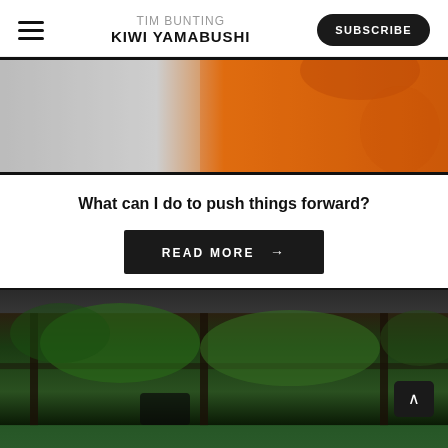TIM BUNTING KIWI YAMABUSHI | SUBSCRIBE
[Figure (photo): Partial view of a person in an orange sweater against a light background, shown from mid-torso. Bordered top and bottom with thick black lines.]
What can I do to push things forward?
READ MORE →
[Figure (photo): View through dark wooden window frames of lush green bamboo and trees outside. Dark figure visible at bottom. A scroll-up arrow button is visible in the lower right corner.]